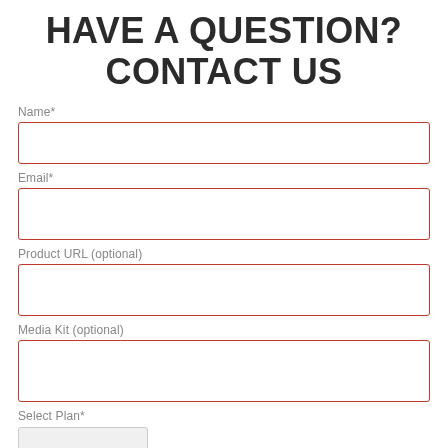HAVE A QUESTION? CONTACT US
Name*
Email*
Product URL (optional)
Media Kit (optional)
Select Plan*